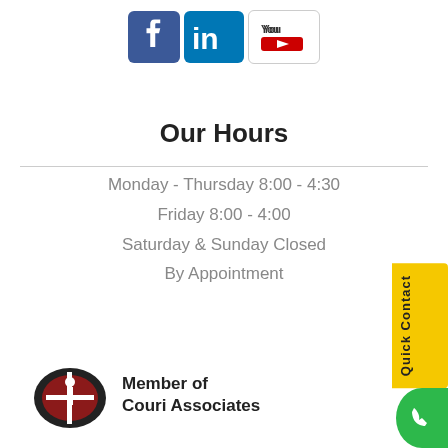[Figure (logo): Social media icons: Facebook (blue), LinkedIn (blue), YouTube (white/red)]
Our Hours
Monday - Thursday 8:00 - 4:30
Friday 8:00 - 4:00
Saturday & Sunday Closed
By Appointment
[Figure (logo): Couri Associates logo with text: Member of Couri Associates]
[Figure (other): Quick Contact yellow sidebar button and green phone button]